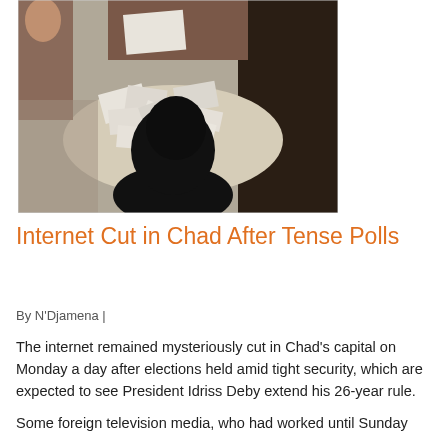[Figure (photo): A person counting or handling ballots/papers at a round white table, with silhouettes of people around it. Election ballot counting scene in Chad.]
Internet Cut in Chad After Tense Polls
By N'Djamena |
The internet remained mysteriously cut in Chad’s capital on Monday a day after elections held amid tight security, which are expected to see President Idriss Deby extend his 26-year rule.
Some foreign television media, who had worked until Sunday